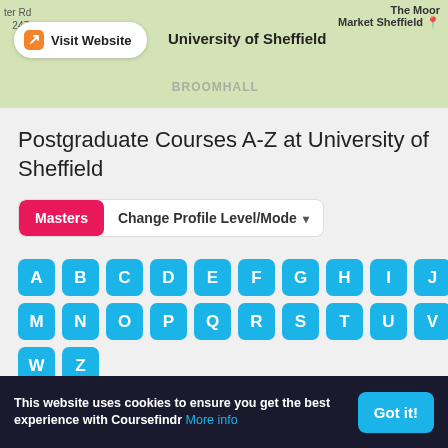[Figure (screenshot): Map background showing Sheffield area with street names, Broomhall label, and The Moor Market Sheffield label. A 'Visit Website' button with orange icon is overlaid on the left, and 'University of Sheffield' text is to its right.]
Postgraduate Courses A-Z at University of Sheffield
Masters  Change Profile Level/Mode ▾
[Figure (other): Alphabet navigation grid with blue rounded square buttons for letters A B C D E F G H I J L / M N O P Q R S T U V / W Z]
This website uses cookies to ensure you get the best experience with Coursefindr More info